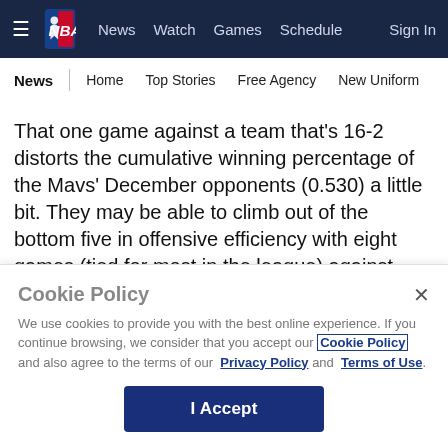≡ NBA | News  Watch  Games  Schedule  Sign In
News | Home  Top Stories  Free Agency  New Uniform
That one game against a team that's 16-2 distorts the cumulative winning percentage of the Mavs' December opponents (0.530) a little bit. They may be able to climb out of the bottom five in offensive efficiency with eight games (tied for most in the league) against teams that currently rank in the bottom 10 defensively. But the Mavs will have to
Cookie Policy
We use cookies to provide you with the best online experience. If you continue browsing, we consider that you accept our Cookie Policy and also agree to the terms of our Privacy Policy and Terms of Use.
I Accept